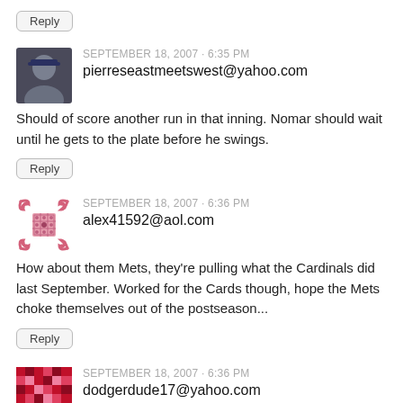Reply
SEPTEMBER 18, 2007 - 6:35 PM
pierreseastmeetswest@yahoo.com
Should of score another run in that inning. Nomar should wait until he gets to the plate before he swings.
Reply
SEPTEMBER 18, 2007 - 6:36 PM
alex41592@aol.com
How about them Mets, they're pulling what the Cardinals did last September. Worked for the Cards though, hope the Mets choke themselves out of the postseason...
Reply
SEPTEMBER 18, 2007 - 6:36 PM
dodgerdude17@yahoo.com